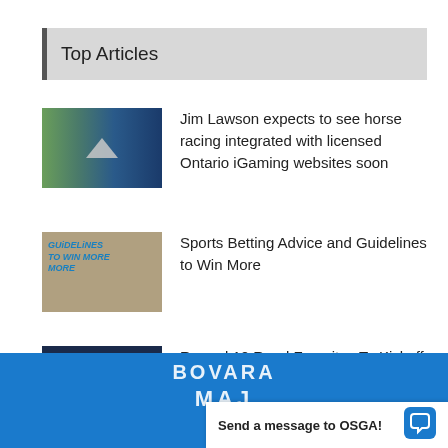Top Articles
[Figure (photo): Horse racing image with upward chevron overlay]
Jim Lawson expects to see horse racing integrated with licensed Ontario iGaming websites soon
[Figure (photo): Sports betting guidelines image with money and hand holding pen]
Sports Betting Advice and Guidelines to Win More
[Figure (photo): NFL logo image with downward chevron overlay]
Record 10 Road Favorites To Kickoff 2022 NFL Week 1
[Figure (photo): Blue OSGA/Bovada banner with MAJ text visible]
Send a message to OSGA!